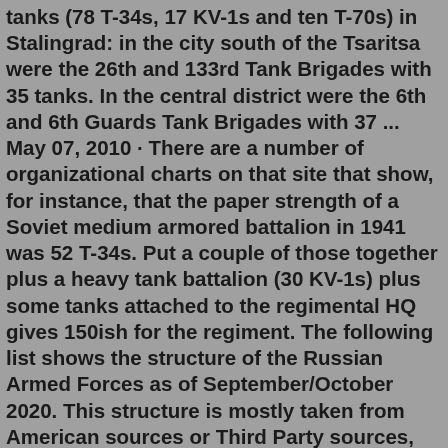tanks (78 T-34s, 17 KV-1s and ten T-70s) in Stalingrad: in the city south of the Tsaritsa were the 26th and 133rd Tank Brigades with 35 tanks. In the central district were the 6th and 6th Guards Tank Brigades with 37 ... May 07, 2010 · There are a number of organizational charts on that site that show, for instance, that the paper strength of a Soviet medium armored battalion in 1941 was 52 T-34s. Put a couple of those together plus a heavy tank battalion (30 KV-1s) plus some tanks attached to the regimental HQ gives 150ish for the regiment. The following list shows the structure of the Russian Armed Forces as of September/October 2020. This structure is mostly taken from American sources or Third Party sources, as much information isn't available in Russian or outdated/not reliable due to state-run media in Russia. 2022 UPDATE: Due to the 2022 Russian invasion of Ukraine, changes which are up to 2022 will be updated with new ... "Roughly 20 minutes after recon unit confirmed the Russian bridge was